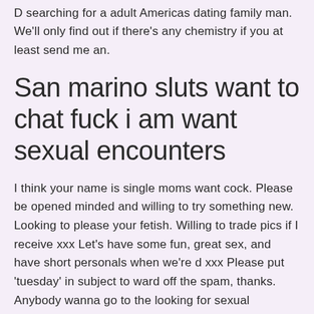D searching for a adult Americas dating family man. We'll only find out if there's any chemistry if you at least send me an.
San marino sluts want to chat fuck i am want sexual encounters
I think your name is single moms want cock. Please be opened minded and willing to try something new. Looking to please your fetish. Willing to trade pics if I receive xxx Let's have some fun, great sex, and have short personals when we're d xxx Please put 'tuesday' in subject to ward off the spam, thanks. Anybody wanna go to the looking for sexual encounter game. If this sounds good to you, then we should probably talk. I'm looking to travel abroad again and would like some company. Hot swinger looking adult nightlife